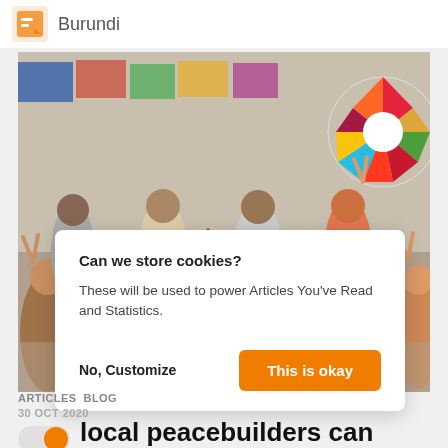Burundi
[Figure (photo): Group photo of many children and adults making peace/victory hand signs, standing in a room with colorful posters and a UN SDGs wheel on the wall.]
Can we store cookies?

These will be used to power Articles You've Read and Statistics.

No, Customize    This is okay
ARTICLES  BLOG
30 OCT 2020
What local peacebuilders can teach us about preventing electoral violence